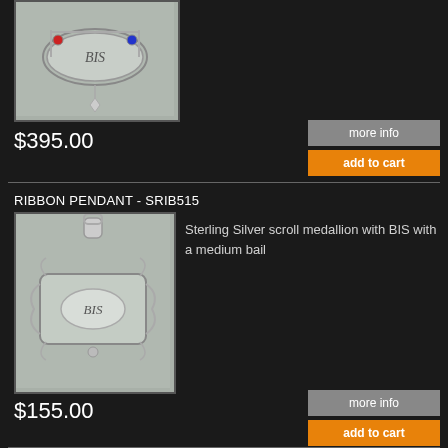[Figure (photo): Sterling silver BIS pin/badge with red and blue gemstones on a grey background]
$395.00
more info
add to cart
RIBBON PENDANT - SRIB515
[Figure (photo): Sterling Silver scroll medallion with BIS engraved, with a medium bail, on grey background]
Sterling Silver scroll medallion with BIS with a medium bail
$155.00
more info
add to cart